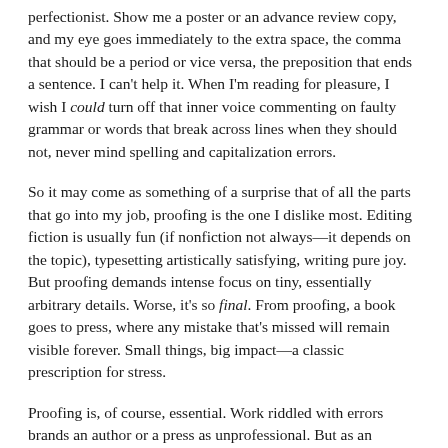perfectionist. Show me a poster or an advance review copy, and my eye goes immediately to the extra space, the comma that should be a period or vice versa, the preposition that ends a sentence. I can't help it. When I'm reading for pleasure, I wish I could turn off that inner voice commenting on faulty grammar or words that break across lines when they should not, never mind spelling and capitalization errors.
So it may come as something of a surprise that of all the parts that go into my job, proofing is the one I dislike most. Editing fiction is usually fun (if nonfiction not always—it depends on the topic), typesetting artistically satisfying, writing pure joy. But proofing demands intense focus on tiny, essentially arbitrary details. Worse, it's so final. From proofing, a book goes to press, where any mistake that's missed will remain visible forever. Small things, big impact—a classic prescription for stress.
Proofing is, of course, essential. Work riddled with errors brands an author or a press as unprofessional. But as an activity it is humbling, especially to a perfectionist. Proofing reveals the places where one's eye skipped over the same mistake a dozen times before. In the novel I'm working on now, I read the file before